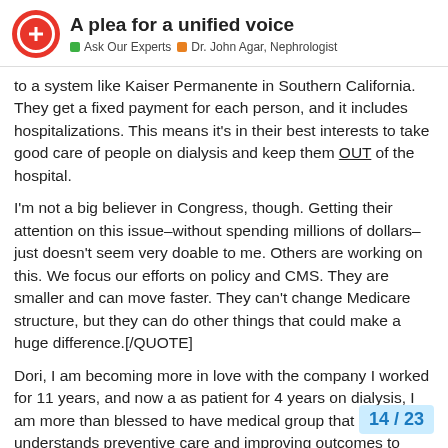A plea for a unified voice | Ask Our Experts | Dr. John Agar, Nephrologist
to a system like Kaiser Permanente in Southern California. They get a fixed payment for each person, and it includes hospitalizations. This means it's in their best interests to take good care of people on dialysis and keep them OUT of the hospital.
I'm not a big believer in Congress, though. Getting their attention on this issue–without spending millions of dollars–just doesn't seem very doable to me. Others are working on this. We focus our efforts on policy and CMS. They are smaller and can move faster. They can't change Medicare structure, but they can do other things that could make a huge difference.[/QUOTE]
Dori, I am becoming more in love with the company I worked for 11 years, and now a as patient for 4 years on dialysis, I am more than blessed to have medical group that understands preventive care and improving outcomes to save costs. There are still areas to improve such as access to [partially obscured] which up until this month was on a case by [partially obscured]
14 / 23